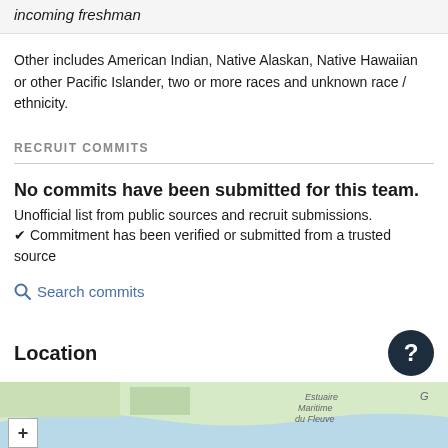incoming freshman
Other includes American Indian, Native Alaskan, Native Hawaiian or other Pacific Islander, two or more races and unknown race / ethnicity.
RECRUIT COMMITS
No commits have been submitted for this team. Unofficial list from public sources and recruit submissions. ✔ Commitment has been verified or submitted from a trusted source
Search commits
Location
[Figure (map): Map showing geographic location, with water body and terrain. Has a zoom-in (+) button. Labels visible: Estuaire Maritime du Fleuve]